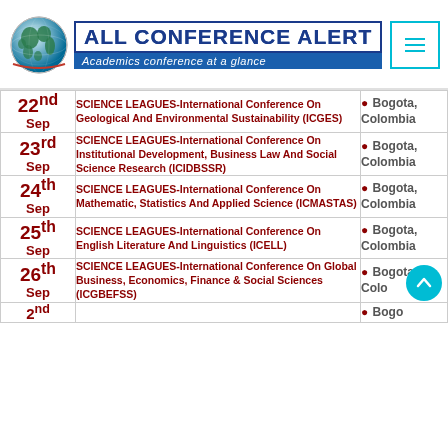[Figure (logo): All Conference Alert logo with globe icon and tagline 'Academics conference at a glance']
| Date | Conference | Location |
| --- | --- | --- |
| 22nd Sep | SCIENCE LEAGUES-International Conference On Geological And Environmental Sustainability (ICGES) | Bogota, Colombia |
| 23rd Sep | SCIENCE LEAGUES-International Conference On Institutional Development, Business Law And Social Science Research (ICIDBSSR) | Bogota, Colombia |
| 24th Sep | SCIENCE LEAGUES-International Conference On Mathematic, Statistics And Applied Science (ICMASTAS) | Bogota, Colombia |
| 25th Sep | SCIENCE LEAGUES-International Conference On English Literature And Linguistics (ICELL) | Bogota, Colombia |
| 26th Sep | SCIENCE LEAGUES-International Conference On Global Business, Economics, Finance & Social Sciences (ICGBEFSS) | Bogota, Colombia |
| 2nd ... | ... | Bogota, ... |